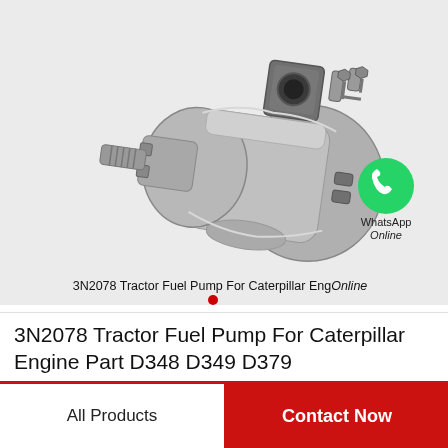[Figure (photo): 3N2078 Tractor Fuel Pump for Caterpillar Engine — a gray metallic hydraulic/fuel pump photographed against a light gray background, with splined shaft visible, fittings and ports at top. A WhatsApp Online badge is overlaid in the lower right of the image.]
3N2078 Tractor Fuel Pump For Caterpillar Eng...
3N2078 Tractor Fuel Pump For Caterpillar Engine Part D348 D349 D379
All Products
Contact Now